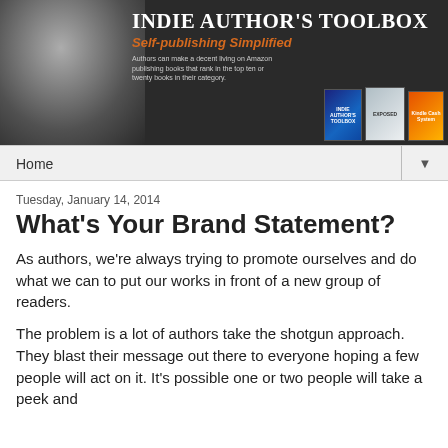[Figure (illustration): Indie Author's Toolbox website banner with a black-and-white photo of a man's face on the left, site title 'INDIE AUTHOR'S TOOLBOX', subtitle 'Self-publishing Simplified', descriptive text about Amazon publishing, and three book covers on the right side against a dark background.]
Home
Tuesday, January 14, 2014
What's Your Brand Statement?
As authors, we're always trying to promote ourselves and do what we can to put our works in front of a new group of readers.
The problem is a lot of authors take the shotgun approach. They blast their message out there to everyone hoping a few people will act on it. It's possible one or two people will take a peek and